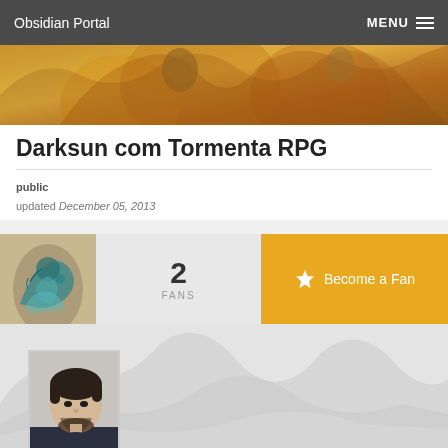Obsidian Portal  MENU
[Figure (illustration): Fantasy banner image with robed figures in golden/amber tones]
Darksun com Tormenta RPG
public
updated December 05, 2013
[Figure (illustration): Avatar/icon image with teal dragon tattoo figure]
2
FANS
Become a Fan
[Figure (photo): Profile photo of a young man with dark hair and beard]
[Figure (illustration): Mountain/landscape background in grey tones]